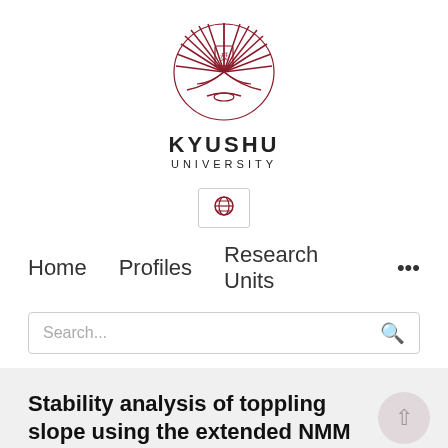[Figure (logo): Kyushu University logo: stylized phoenix/feather emblem in dark red/maroon above the text KYUSHU UNIVERSITY]
KYUSHU UNIVERSITY
[Figure (other): Globe icon button for language/region selection]
Home   Profiles   Research Units   ...
Search...
Stability analysis of toppling slope using the extended NMM
Guangqi Chen, Fusong Fan